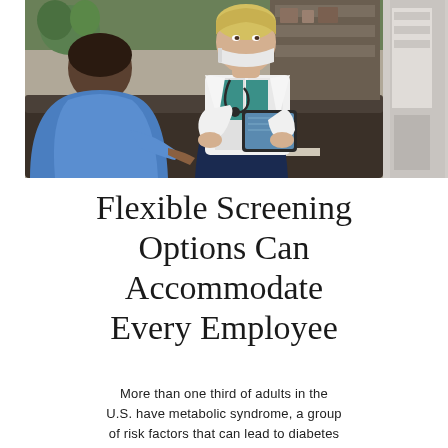[Figure (photo): A doctor in a white coat and face mask holding a tablet, sitting across from a patient (seen from behind, wearing blue) on a dark sofa. Indoor clinical/home visit setting with shelving in background. Partial view of another scene on the right edge.]
Flexible Screening Options Can Accommodate Every Employee
More than one third of adults in the U.S. have metabolic syndrome, a group of risk factors that can lead to diabetes